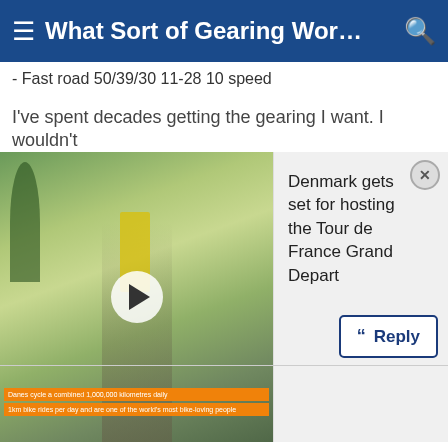What Sort of Gearing Works Be...
- Fast road 50/39/30 11-28 10 speed
I've spent decades getting the gearing I want. I wouldn't
[Figure (screenshot): Video thumbnail showing a street scene with trees and a bus, with a play button in the center and orange caption bars at the bottom reading ad text]
Denmark gets set for hosting the Tour de France Grand Depart